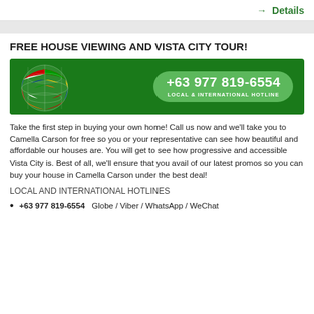→ Details
FREE HOUSE VIEWING AND VISTA CITY TOUR!
[Figure (photo): Banner with globe made of world flags on green background and phone number +63 977 819-6554 LOCAL & INTERNATIONAL HOTLINE]
Take the first step in buying your own home! Call us now and we'll take you to Camella Carson for free so you or your representative can see how beautiful and affordable our houses are. You will get to see how progressive and accessible Vista City is. Best of all, we'll ensure that you avail of our latest promos so you can buy your house in Camella Carson under the best deal!
LOCAL AND INTERNATIONAL HOTLINES
+63 977 819-6554   Globe / Viber / WhatsApp / WeChat